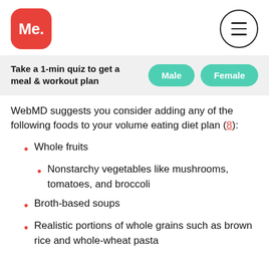Me.
Take a 1-min quiz to get a meal & workout plan
WebMD suggests you consider adding any of the following foods to your volume eating diet plan (8):
Whole fruits
Nonstarchy vegetables like mushrooms, tomatoes, and broccoli
Broth-based soups
Realistic portions of whole grains such as brown rice and whole-wheat pasta